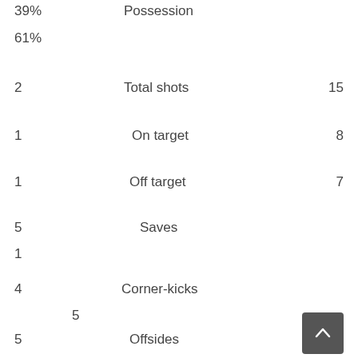| Left | Stat | Right |
| --- | --- | --- |
| 39% | Possession |  |
| 61% |  |  |
| 2 | Total shots | 15 |
| 1 | On target | 8 |
| 1 | Off target | 7 |
| 5 | Saves |  |
| 1 |  |  |
| 4 | Corner-kicks |  |
|  | 5 |  |
| 5 | Offsides | 5 |
| 18 | Fouls | 13 |